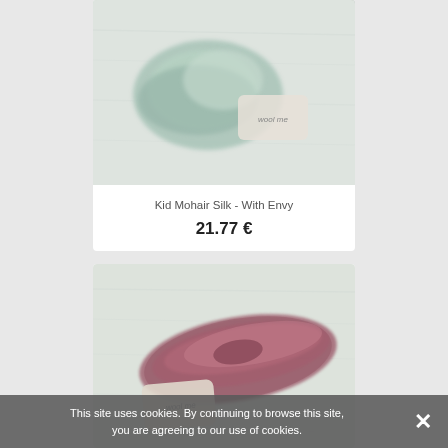[Figure (photo): Skein of mint/sage green Kid Mohair Silk yarn on white wood surface with 'wool me' branded tag]
Kid Mohair Silk - With Envy
21.77 €
[Figure (photo): Skein of dusty rose/burgundy fluffy Kid Mohair Silk yarn on white wood surface with 'wool me' branded tag]
This site uses cookies. By continuing to browse this site, you are agreeing to our use of cookies.